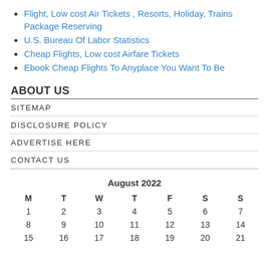Flight, Low cost Air Tickets , Resorts, Holiday, Trains Package Reserving
U.S. Bureau Of Labor Statistics
Cheap Flights, Low cost Airfare Tickets
Ebook Cheap Flights To Anyplace You Want To Be
ABOUT US
SITEMAP
DISCLOSURE POLICY
ADVERTISE HERE
CONTACT US
| M | T | W | T | F | S | S |
| --- | --- | --- | --- | --- | --- | --- |
| 1 | 2 | 3 | 4 | 5 | 6 | 7 |
| 8 | 9 | 10 | 11 | 12 | 13 | 14 |
| 15 | 16 | 17 | 18 | 19 | 20 | 21 |